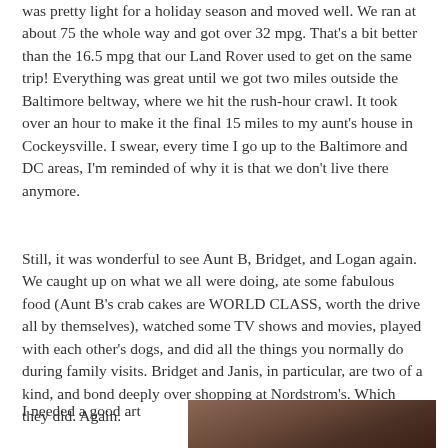was pretty light for a holiday season and moved well. We ran at about 75 the whole way and got over 32 mpg. That's a bit better than the 16.5 mpg that our Land Rover used to get on the same trip! Everything was great until we got two miles outside the Baltimore beltway, where we hit the rush-hour crawl. It took over an hour to make it the final 15 miles to my aunt's house in Cockeysville. I swear, every time I go up to the Baltimore and DC areas, I'm reminded of why it is that we don't live there anymore.
Still, it was wonderful to see Aunt B, Bridget, and Logan again. We caught up on what we all were doing, ate some fabulous food (Aunt B's crab cakes are WORLD CLASS, worth the drive all by themselves), watched some TV shows and movies, played with each other's dogs, and did all the things you normally do during family visits. Bridget and Janis, in particular, are two of a kind, and bond deeply over shopping at Nordstrom's. Which they did. Again.
I needed a good art
[Figure (photo): A dark-toned photograph, partially visible at the bottom right of the page, showing what appears to be a dimly lit scene with brown and dark tones.]